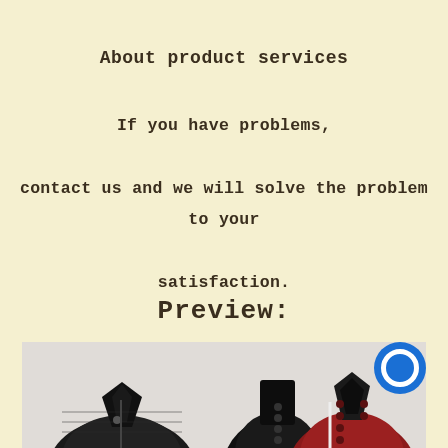About product services
If you have problems, contact us and we will solve the problem to your satisfaction.
Preview:
[Figure (photo): Two product preview images: left shows a black patterned zip-up jacket, right shows a black military-style jacket and a red military coat with buttons side by side. A blue chat bubble icon overlays the top-right corner of the image area.]